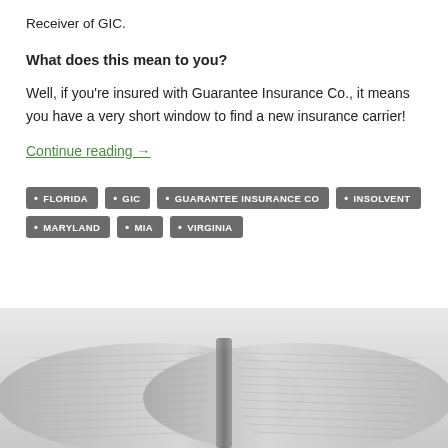Receiver of GIC.
What does this mean to you?
Well, if you're insured with Guarantee Insurance Co., it means you have a very short window to find a new insurance carrier!
Continue reading →
FLORIDA
GIC
GUARANTEE INSURANCE CO
INSOLVENT
MARYLAND
MIA
VIRGINIA
[Figure (photo): Open book photographed from above, showing two pages of dense text, white/light gray tones]